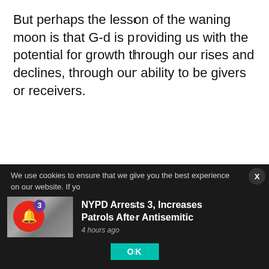But perhaps the lesson of the waning moon is that G-d is providing us with the potential for growth through our rises and declines, through our ability to be givers or receivers.
We live in a world of inequality where some of us will be stronger, richer, smarter, better connected and more influential, powerful or charismatic. How
We use cookies to ensure that we give you the best experience on our website. If yo
[Figure (photo): Thumbnail image of a news article about NYPD arrests]
NYPD Arrests 3, Increases Patrols After Antisemitic
4 hours ago